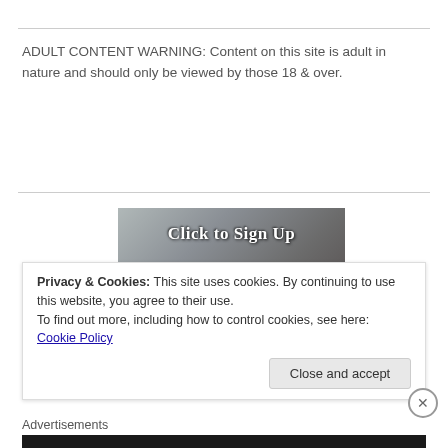ADULT CONTENT WARNING: Content on this site is adult in nature and should only be viewed by those 18 & over.
[Figure (photo): Promotional banner image with a couple (man and woman) close together, with overlaid text 'Click to Sign Up' in white serif font]
Privacy & Cookies: This site uses cookies. By continuing to use this website, you agree to their use.
To find out more, including how to control cookies, see here: Cookie Policy
Close and accept
Advertisements